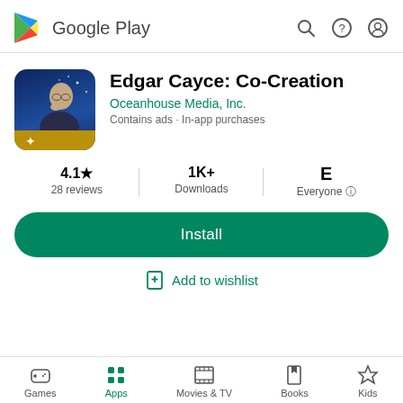Google Play
Edgar Cayce: Co-Creation
Oceanhouse Media, Inc.
Contains ads · In-app purchases
4.1★ 28 reviews | 1K+ Downloads | Everyone
Install
Add to wishlist
Games | Apps | Movies & TV | Books | Kids